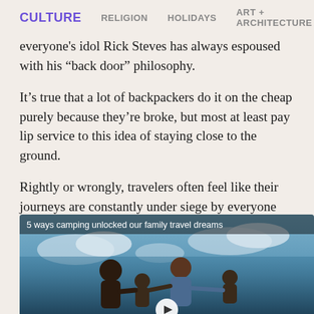CULTURE   RELIGION   HOLIDAYS   ART + ARCHITECTURE
everyone's idol Rick Steves has always espoused with his “back door” philosophy.
It’s true that a lot of backpackers do it on the cheap purely because they’re broke, but most at least pay lip service to this idea of staying close to the ground.
Rightly or wrongly, travelers often feel like their journeys are constantly under siege by everyone else’s.
[Figure (photo): A family of four (man, woman, two children) playing together outdoors against a partly cloudy sky background. Caption overlay reads: '5 ways camping unlocked our family travel dreams']